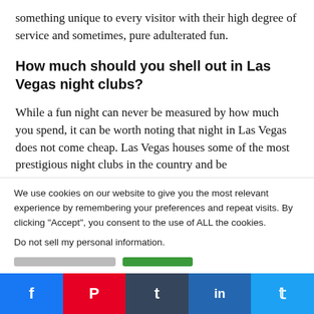something unique to every visitor with their high degree of service and sometimes, pure adulterated fun.
How much should you shell out in Las Vegas night clubs?
While a fun night can never be measured by how much you spend, it can be worth noting that night in Las Vegas does not come cheap. Las Vegas houses some of the most prestigious night clubs in the country and be
We use cookies on our website to give you the most relevant experience by remembering your preferences and repeat visits. By clicking “Accept”, you consent to the use of ALL the cookies.
Do not sell my personal information.